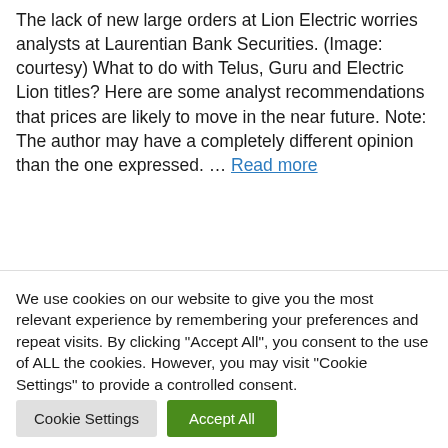The lack of new large orders at Lion Electric worries analysts at Laurentian Bank Securities. (Image: courtesy) What to do with Telus, Guru and Electric Lion titles? Here are some analyst recommendations that prices are likely to move in the near future. Note: The author may have a completely different opinion than the one expressed. ... Read more
We use cookies on our website to give you the most relevant experience by remembering your preferences and repeat visits. By clicking "Accept All", you consent to the use of ALL the cookies. However, you may visit "Cookie Settings" to provide a controlled consent.